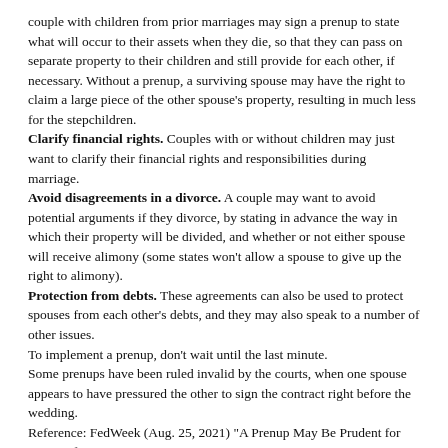couple with children from prior marriages may sign a prenup to state what will occur to their assets when they die, so that they can pass on separate property to their children and still provide for each other, if necessary. Without a prenup, a surviving spouse may have the right to claim a large piece of the other spouse's property, resulting in much less for the stepchildren.
Clarify financial rights. Couples with or without children may just want to clarify their financial rights and responsibilities during marriage.
Avoid disagreements in a divorce. A couple may want to avoid potential arguments if they divorce, by stating in advance the way in which their property will be divided, and whether or not either spouse will receive alimony (some states won't allow a spouse to give up the right to alimony).
Protection from debts. These agreements can also be used to protect spouses from each other's debts, and they may also speak to a number of other issues.
To implement a prenup, don't wait until the last minute.
Some prenups have been ruled invalid by the courts, when one spouse appears to have pressured the other to sign the contract right before the wedding.
Reference: FedWeek (Aug. 25, 2021) "A Prenup May Be Prudent for Later-Life Marriages"